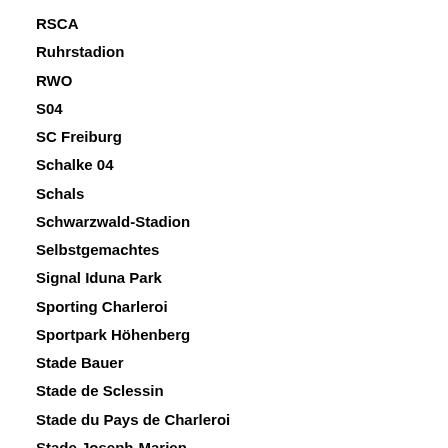RSCA
Ruhrstadion
RWO
S04
SC Freiburg
Schalke 04
Schals
Schwarzwald-Stadion
Selbstgemachtes
Signal Iduna Park
Sporting Charleroi
Sportpark Höhenberg
Stade Bauer
Stade de Sclessin
Stade du Pays de Charleroi
Stade Joseph-Marien
Stade Saint-Symphorien
Stadion am Zoo